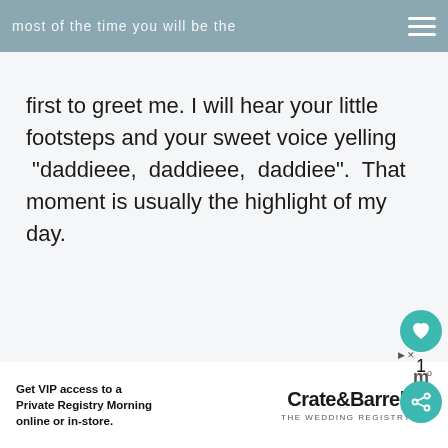most of the time you will be the
first to greet me. I will hear your little footsteps and your sweet voice yelling “daddieee, daddieee, daddiee”. That moment is usually the highlight of my day.
[Figure (other): White content area below main text with like button (heart icon, teal circle), count of 1, and share button]
[Figure (other): Advertisement banner: Get VIP access to a Private Registry Morning online or in-store. Crate & Barrel The Wedding Registry logo.]